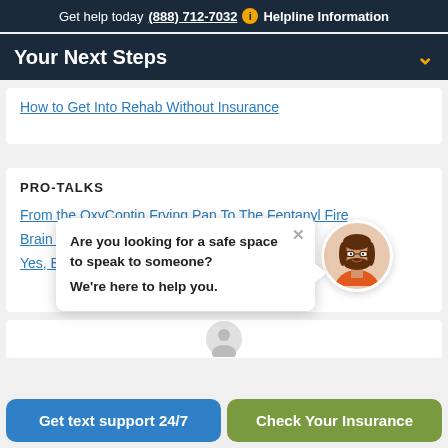Get help today (888) 712-7032  ℹ  Helpline Information
Your Next Steps
How to Get Into Rehab Without Insurance
PRO-TALKS
From the OxyContin Frying Pan To The Fentanyl Fire
Brain Healing
Yes, Benzo
[Figure (illustration): Chat popup overlay with avatar. Bubble text: 'Are you looking for a safe space to speak to someone? We're here to help you.' with a close X button and an illustrated female avatar with glasses.]
Are you looking for a safe space to speak to someone?
We're here to help you.
Get text support 24/7
Check Your Insurance